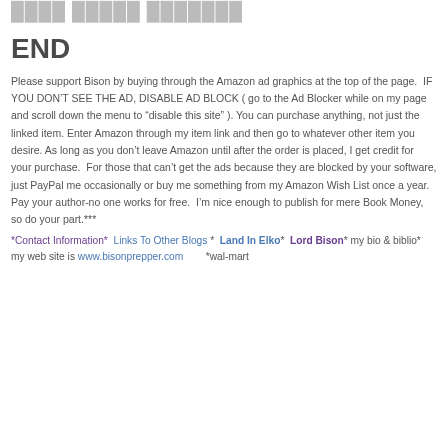END
Please support Bison by buying through the Amazon ad graphics at the top of the page.  IF YOU DON'T SEE THE AD, DISABLE AD BLOCK ( go to the Ad Blocker while on my page and scroll down the menu to “disable this site” ). You can purchase anything, not just the linked item. Enter Amazon through my item link and then go to whatever other item you desire. As long as you don’t leave Amazon until after the order is placed, I get credit for your purchase.  For those that can’t get the ads because they are blocked by your software, just PayPal me occasionally or buy me something from my Amazon Wish List once a year.  Pay your author-no one works for free.  I’m nice enough to publish for mere Book Money, so do your part.***
*Contact Information*  Links To Other Blogs *  Land In Elko*  Lord Bison* my bio & biblio*   my web site is www.bisonprepper.com        *wal-mart